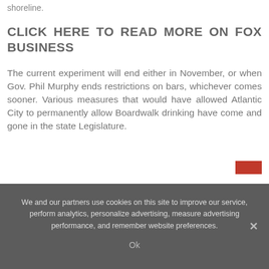shoreline.
CLICK HERE TO READ MORE ON FOX BUSINESS
The current experiment will end either in November, or when Gov. Phil Murphy ends restrictions on bars, whichever comes sooner. Various measures that would have allowed Atlantic City to permanently allow Boardwalk drinking have come and gone in the state Legislature.
We and our partners use cookies on this site to improve our service, perform analytics, personalize advertising, measure advertising performance, and remember website preferences.
Ok